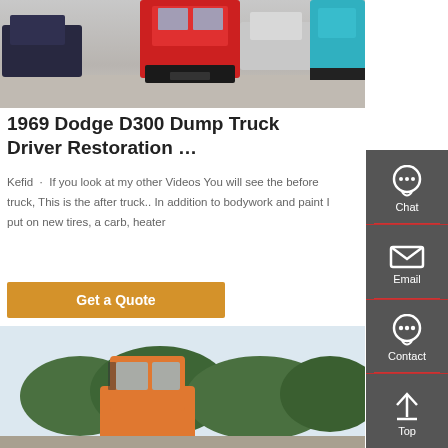[Figure (photo): Front view of a red dump truck in a parking lot, with dark cars on the left and a teal truck on the right]
1969 Dodge D300 Dump Truck Driver Restoration …
Kefid · If you look at my other Videos You will see the before truck, This is the after truck.. In addition to bodywork and paint I put on new tires, a carb, heater
Get a Quote
[Figure (photo): Orange dump truck cab visible among green trees with light sky background]